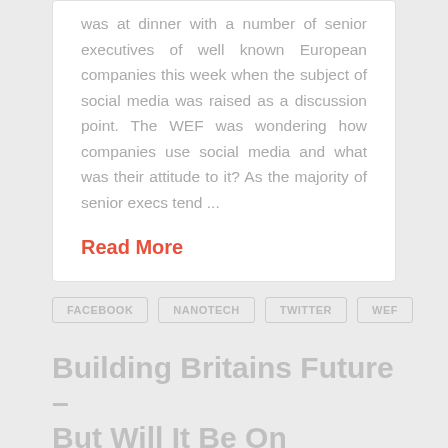was at dinner with a number of senior executives of well known European companies this week when the subject of social media was raised as a discussion point. The WEF was wondering how companies use social media and what was their attitude to it? As the majority of senior execs tend ...
Read More
FACEBOOK
NANOTECH
TWITTER
WEF
Building Britains Future – But Will It Be On Science?
As British Politics seems to be mainly concerned with lies & deceit these days it was refreshing to to see Science Minister Lord Drayson popping up on Twitter